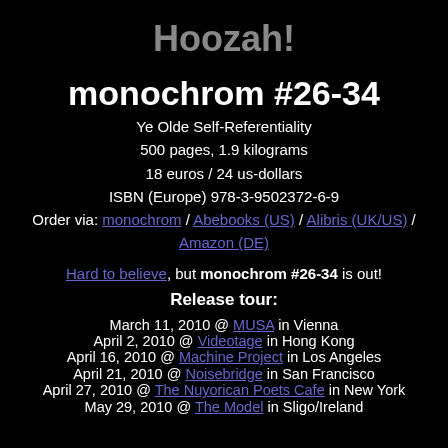Hoozah!
monochrom #26-34
Ye Olde Self-Referentiality
500 pages, 1.9 kilograms
18 euros / 24 us-dollars
ISBN (Europe) 978-3-9502372-6-9
Order via: monochrom / Abebooks (US) / Alibris (UK/US) / Amazon (DE)
Hard to believe, but monochrom #26-34 is out!
Release tour:
March 11, 2010 @ MUSA in Vienna
April 2, 2010 @ Videotage in Hong Kong
April 16, 2010 @ Machine Project in Los Angeles
April 21, 2010 @ Noisebridge in San Francisco
April 27, 2010 @ The Nuyorican Poets Cafe in New York
May 29, 2010 @ The Model in Sligo/Ireland